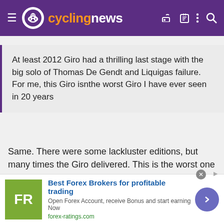cyclingnews
At least 2012 Giro had a thrilling last stage with the big solo of Thomas De Gendt and Liquigas failure. For me, this Giro isnthe worst Giro I have ever seen in 20 years
Same. There were some lackluster editions, but many times the Giro delivered. This is the worst one by light years.
Sandisfan
[Figure (infographic): Advertisement banner for forex-ratings.com showing FR logo, heading 'Best Forex Brokers for profitable trading', subtext 'Open Forex Account, receive Bonus and start earning Now', URL forex-ratings.com, and a purple arrow button]